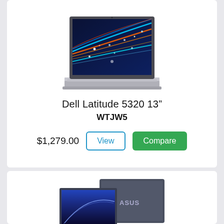[Figure (photo): Dell Latitude 5320 13-inch laptop open showing vivid blue highway/city lights screensaver on screen, silver body, displayed on white card]
Dell Latitude 5320 13"
WTJW5
$1,279.00
View
Compare
[Figure (photo): Partial view of ASUS laptop product showing two devices (one open showing blue wallpaper, one closed showing ASUS logo on dark gray lid)]